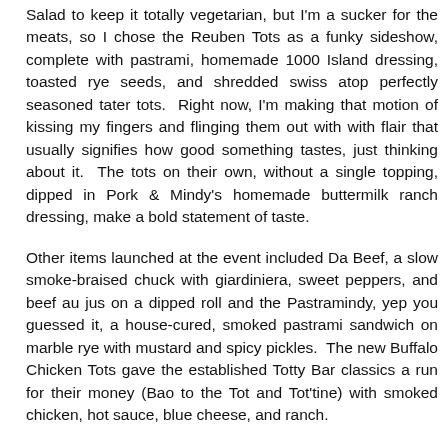Salad to keep it totally vegetarian, but I'm a sucker for the meats, so I chose the Reuben Tots as a funky sideshow, complete with pastrami, homemade 1000 Island dressing, toasted rye seeds, and shredded swiss atop perfectly seasoned tater tots.  Right now, I'm making that motion of kissing my fingers and flinging them out with with flair that usually signifies how good something tastes, just thinking about it.  The tots on their own, without a single topping, dipped in Pork & Mindy's homemade buttermilk ranch dressing, make a bold statement of taste.
Other items launched at the event included Da Beef, a slow smoke-braised chuck with giardiniera, sweet peppers, and beef au jus on a dipped roll and the Pastramindy, yep you guessed it, a house-cured, smoked pastrami sandwich on marble rye with mustard and spicy pickles.  The new Buffalo Chicken Tots gave the established Totty Bar classics a run for their money (Bao to the Tot and Tot'tine) with smoked chicken, hot sauce, blue cheese, and ranch.
I didn't get a chance to sample the Cheezy Beef Tots, but I'm guessing it would have held my attention with giardiniera, smoked mozz, and chuck.  Pork & Mindy's famous candied bacon, aptly named Pig Candy, made an appearance in the new Buffalo Blue Hog Slaw, partnered with creamy buffalo